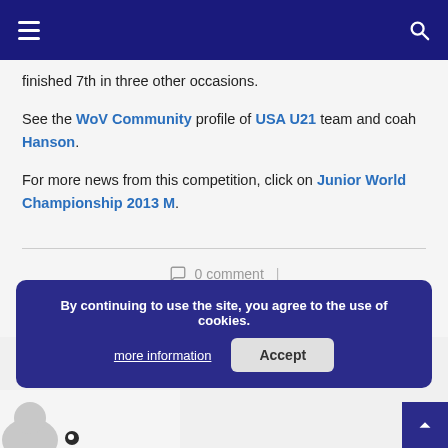Navigation bar with hamburger menu and search icon
finished 7th in three other occasions.
See the WoV Community profile of USA U21 team and coah Hanson.
For more news from this competition, click on Junior World Championship 2013 M.
0 comment
0
By continuing to use the site, you agree to the use of cookies. more information | Accept